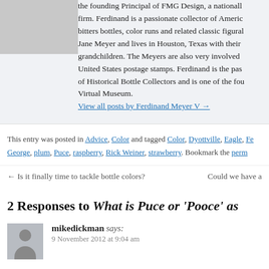[Figure (photo): Small portrait photo of Ferdinand Meyer V, partially visible at top]
the founding Principal of FMG Design, a nationally recognized firm. Ferdinand is a passionate collector of American bitters bottles, color runs and related classic figural bottles. He married Jane Meyer and lives in Houston, Texas with their children and grandchildren. The Meyers are also very involved in collecting United States postage stamps. Ferdinand is the past president of Historical Bottle Collectors and is one of the founders of the Virtual Museum.
View all posts by Ferdinand Meyer V →
This entry was posted in Advice, Color and tagged Color, Dyottville, Eagle, Fe..., George, plum, Puce, raspberry, Rick Weiner, strawberry. Bookmark the perm...
← Is it finally time to tackle bottle colors?
Could we have a
2 Responses to What is Puce or 'Pooce' as
[Figure (photo): Default user avatar silhouette icon for commenter mikedickman]
mikedickman says:
9 November 2012 at 9:04 am